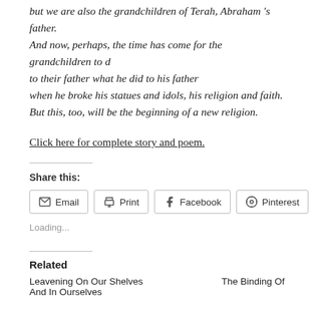but we are also the grandchildren of Terah, Abraham 's father. And now, perhaps, the time has come for the grandchildren to d to their father what he did to his father when he broke his statues and idols, his religion and faith. But this, too, will be the beginning of a new religion.
Click here for complete story and poem.
Share this:
Email  Print  Facebook  Pinterest
Loading...
Related
Leavening On Our Shelves And In Ourselves
The Binding Of